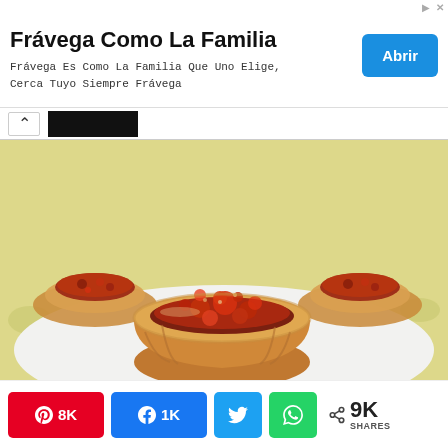[Figure (infographic): Advertisement banner for Frávega Como La Familia with title text, subtitle, and blue Abrir button]
Frávega Como La Familia
Frávega Es Como La Familia Que Uno Elige, Cerca Tuyo Siempre Frávega
[Figure (photo): Close-up photo of small pie/tart cups filled with meat filling on a white plate with yellow patterned background]
[Figure (infographic): Social share buttons row: Pinterest 8K, Facebook 1K, Twitter, WhatsApp, and total 9K SHARES]